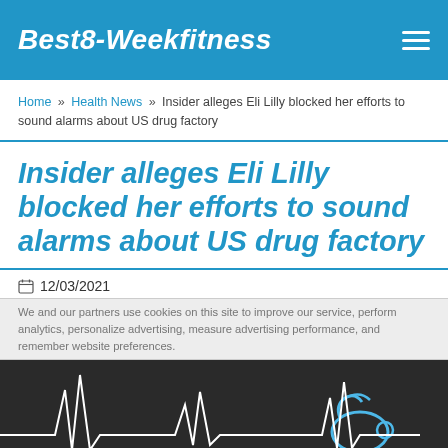Best8-Weekfitness
Home » Health News » Insider alleges Eli Lilly blocked her efforts to sound alarms about US drug factory
Insider alleges Eli Lilly blocked her efforts to sound alarms about US drug factory
12/03/2021
We and our partners use cookies on this site to improve our service, perform analytics, personalize advertising, measure advertising performance, and remember website preferences.
[Figure (photo): Dark background image showing a white line EKG/heartbeat graph and a blue stethoscope or medical device]